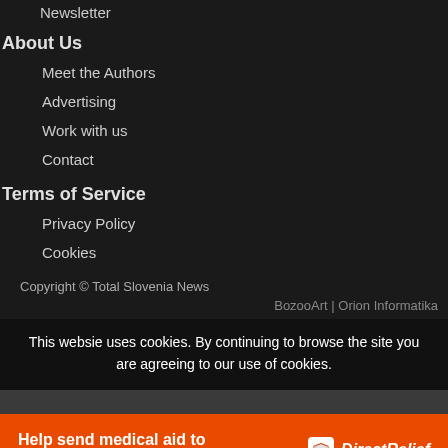Newsletter
About Us
Meet the Authors
Advertising
Work with us
Contact
Terms of Service
Privacy Policy
Cookies
Copyright © Total Slovenia News
BozooArt | Orion Informatika
This websie uses cookies. By continuing to browse the site you are agreeing to our use of cookies.
[Figure (other): Orange advertisement banner: Help send medical aid to Ukraine >> DirectRelief logo]